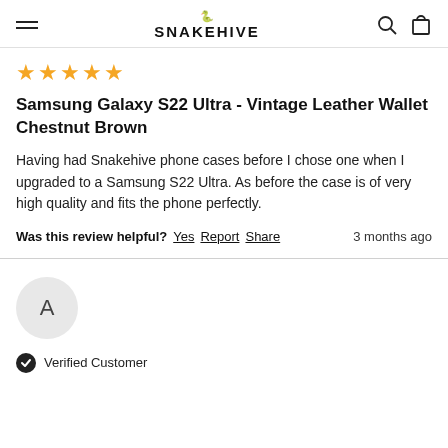SNAKEHIVE
Samsung Galaxy S22 Ultra - Vintage Leather Wallet Chestnut Brown
Having had Snakehive phone cases before I chose one when I upgraded to a Samsung S22 Ultra. As before the case is of very high quality and fits the phone perfectly.
Was this review helpful? Yes Report Share  3 months ago
[Figure (other): Reviewer avatar circle with letter A]
Verified Customer